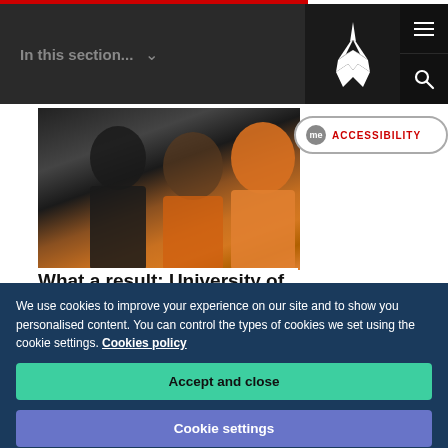In this section...
[Figure (photo): Two people smiling, one wearing an orange hoodie, at a university event]
What a result: University of
We use cookies to improve your experience on our site and to show you personalised content. You can control the types of cookies we set using the cookie settings. Cookies policy
Accept and close
Cookie settings